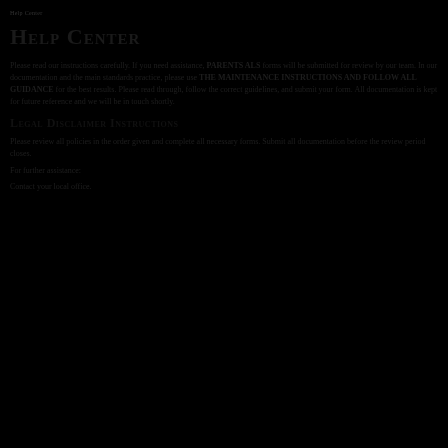HELP CENTER
Help Center
Please read our instructions carefully. If you need assistance, PARENTS ALS forms will be submitted for review by our team. In our documentation and the main standards practice, please use THE MAINTENANCE INSTRUCTIONS AND FOLLOW ALL GUIDANCE for the best results. Please read through, follow the correct guidelines, and submit your form. All documentation is kept for future reference and we will be in touch shortly.
LEGAL DISCLAIMER INSTRUCTIONS
Please review all policies in the order given and complete all necessary forms. Submit all documentation before the review period closes.
For further assistance:
Contact your local office.